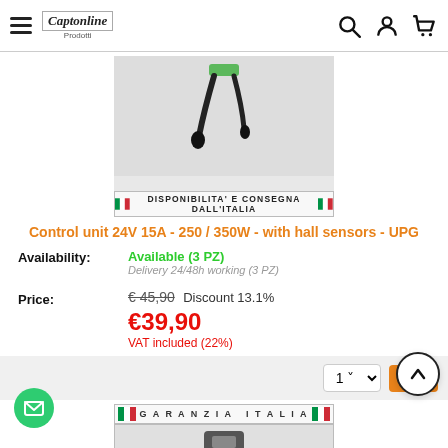Captonline - Prodotti
[Figure (photo): Product photo of a 24V 15A control unit with hall sensors, showing cables and connectors on a white background. Banner below reads: DISPONIBILITA' E CONSEGNA DALL'ITALIA]
Control unit 24V 15A - 250 / 350W - with hall sensors - UPG
Availability: Available (3 PZ)
Delivery 24/48h working (3 PZ)
Price: € 45,90 Discount 13.1%
€39,90
VAT included (22%)
[Figure (screenshot): Garanzia Italia banner with Italian flag stripes and product thumbnail below]